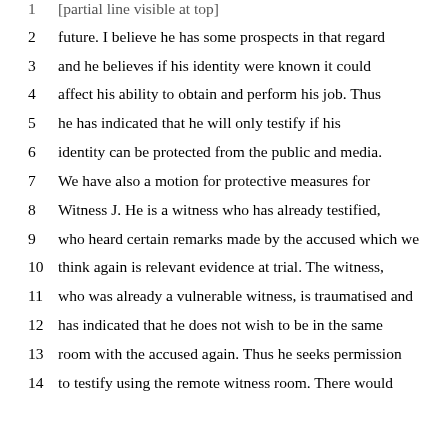1 [text cut off at top of page]
2 future. I believe he has some prospects in that regard
3 and he believes if his identity were known it could
4 affect his ability to obtain and perform his job. Thus
5 he has indicated that he will only testify if his
6 identity can be protected from the public and media.
7 We have also a motion for protective measures for
8 Witness J. He is a witness who has already testified,
9 who heard certain remarks made by the accused which we
10 think again is relevant evidence at trial. The witness,
11 who was already a vulnerable witness, is traumatised and
12 has indicated that he does not wish to be in the same
13 room with the accused again. Thus he seeks permission
14 to testify using the remote witness room. There would